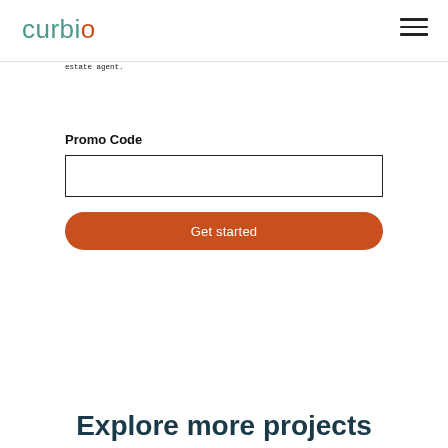curbio
estate agent.
Promo Code
Get started
Explore more projects